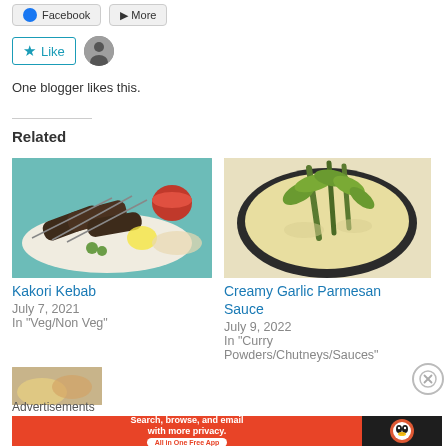[Figure (other): Facebook share button and More button at top]
[Figure (other): Like button with star icon and user avatar]
One blogger likes this.
Related
[Figure (photo): Photo of Kakori Kebab on a plate with sauce]
Kakori Kebab
July 7, 2021
In "Veg/Non Veg"
[Figure (photo): Photo of Creamy Garlic Parmesan Sauce in a pot]
Creamy Garlic Parmesan Sauce
July 9, 2022
In "Curry Powders/Chutneys/Sauces"
Advertisements
[Figure (other): DuckDuckGo advertisement banner: Search, browse, and email with more privacy. All in One Free App]